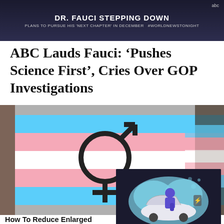[Figure (screenshot): ABC News TV screenshot showing 'DR. FAUCI STEPPING DOWN' headline with 'PLANS TO PURSUE HIS NEXT CHAPTER IN DECEMBER' subtext and ABC logo]
ABC Lauds Fauci: ‘Pushes Science First’, Cries Over GOP Investigations
[Figure (photo): Transgender pride flag with gender symbol, pink, white, and blue stripes, held at a rally. Promoted badge visible in lower right.]
[Figure (illustration): Illustrated graphic of a person looking under a car hood, styled in blue/purple tones, for auto repair advertisement]
How To Reduce Enlarged Prostates Without Surgery Do This Daily
🔥 801
The Smart Way To Avoid Paying For An Expensive Auto Repair Bill Again
🔥 100